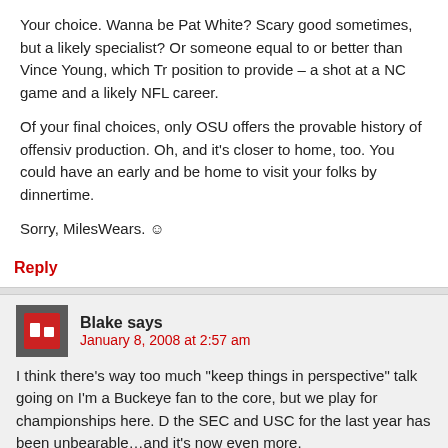Your choice. Wanna be Pat White? Scary good sometimes, but a likely specialist? Or someone equal to or better than Vince Young, which Troy is in position to provide – a shot at a NC game and a likely NFL career.
Of your final choices, only OSU offers the provable history of offensive production. Oh, and it's closer to home, too. You could have an early game and be home to visit your folks by dinnertime.
Sorry, MilesWears. ☺
Reply
Blake says
January 8, 2008 at 2:57 am
I think there's way too much "keep things in perspective" talk going on. I'm a Buckeye fan to the core, but we play for championships here. Dominance by the SEC and USC for the last year has been unbearable…and it's now going to hurt even more.
The fact is, the only way the Bucks can change perception is to beat te... if we lose to USC next season. We have a lot of players coming back, b... this team will not leave. The pundits will not buy into this team withou... a bottom performance of the Big 10...